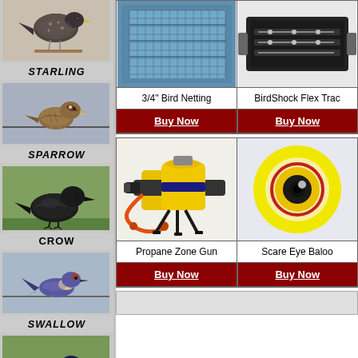[Figure (photo): Starling bird perched on a rail]
STARLING
[Figure (photo): Sparrow bird perched]
SPARROW
[Figure (photo): Crow bird on grass]
CROW
[Figure (photo): Swallow bird perched on wire]
SWALLOW
[Figure (photo): Grackle bird on grass]
Grackle
[Figure (photo): 3/4 inch bird netting installed on building]
[Figure (photo): BirdShock Flex Track product close-up]
3/4" Bird Netting
BirdShock Flex Trac
Buy Now
Buy Now
[Figure (photo): Propane Zone Gun - yellow and black device]
Propane Zone Gun
Scare Eye Baloo
Buy Now
Buy Now